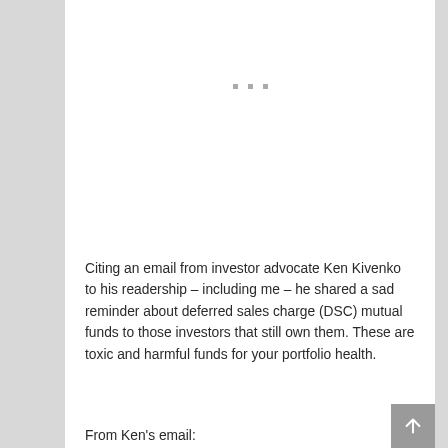[Figure (other): Three small gray dots/squares arranged horizontally, likely a section divider or ellipsis decoration]
Citing an email from investor advocate Ken Kivenko to his readership – including me – he shared a sad reminder about deferred sales charge (DSC) mutual funds to those investors that still own them. These are toxic and harmful funds for your portfolio health.
From Ken's email: